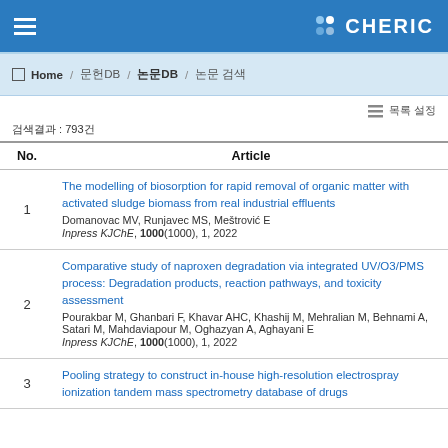CHERIC
Home / 문헌DB / 논문DB / 논문 검색
검색결과 : 793건
| No. | Article |
| --- | --- |
| 1 | The modelling of biosorption for rapid removal of organic matter with activated sludge biomass from real industrial effluents
Domanovac MV, Runjavec MS, Meštrović E
Inpress KJChE, 1000(1000), 1, 2022 |
| 2 | Comparative study of naproxen degradation via integrated UV/O3/PMS process: Degradation products, reaction pathways, and toxicity assessment
Pourakbar M, Ghanbari F, Khavar AHC, Khashij M, Mehralian M, Behnami A, Satari M, Mahdaviapour M, Oghazyan A, Aghayani E
Inpress KJChE, 1000(1000), 1, 2022 |
| 3 | Pooling strategy to construct in-house high-resolution electrospray ionization tandem mass spectrometry database of drugs
... |